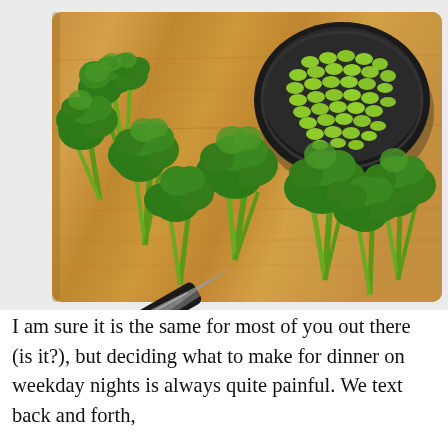[Figure (photo): Overhead view of a wooden cutting board with broccoli florets cut and spread across it, a black chef's knife lying diagonally, and a black bowl filled with edamame beans in the upper right corner. Background is white/light gray.]
I am sure it is the same for most of you out there (is it?), but deciding what to make for dinner on weekday nights is always quite painful. We text back and forth, debating in in that (are we) think of something to...